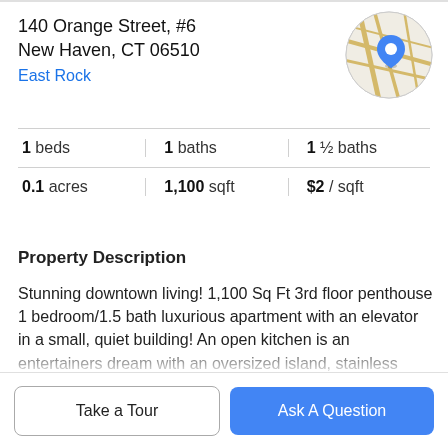140 Orange Street, #6
New Haven, CT 06510
East Rock
[Figure (map): Circular map thumbnail with road lines and a blue location pin marker]
| 1 beds | 1 baths | 1 ½ baths |
| 0.1 acres | 1,100 sqft | $2 / sqft |
Property Description
Stunning downtown living! 1,100 Sq Ft 3rd floor penthouse 1 bedroom/1.5 bath luxurious apartment with an elevator in a small, quiet building! An open kitchen is an entertainers dream with an oversized island, stainless steel appliances, microwave, dishwasher granite